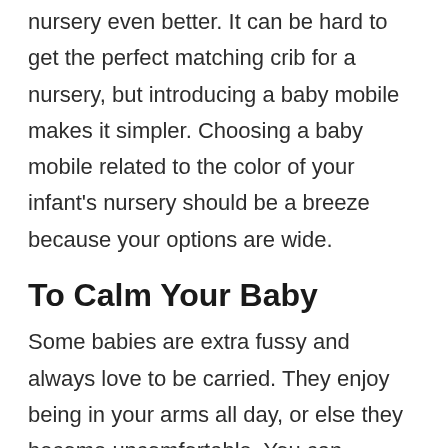nursery even better. It can be hard to get the perfect matching crib for a nursery, but introducing a baby mobile makes it simpler. Choosing a baby mobile related to the color of your infant's nursery should be a breeze because your options are wide.
To Calm Your Baby
Some babies are extra fussy and always love to be carried. They enjoy being in your arms all day, or else they become uncomfortable. You can alleviate their worries by getting them a baby mobile that can be placed over their crib at a height they can't reach. Baby mobiles can be so appealing that they leave a calming effect on your little one. You can hang it on the ceiling or hook it to the crib; just make sure it